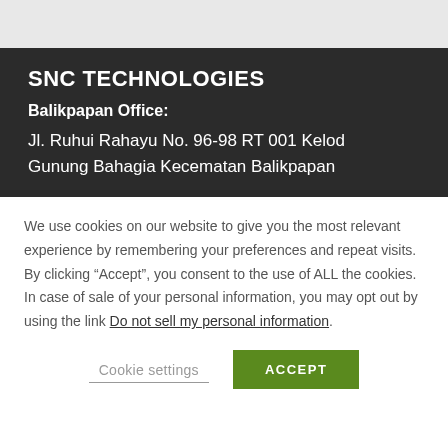SNC TECHNOLOGIES
Balikpapan Office:
Jl. Ruhui Rahayu No. 96-98 RT 001 Kelod Gunung Bahagia Kecematan Balikpapan
We use cookies on our website to give you the most relevant experience by remembering your preferences and repeat visits. By clicking “Accept”, you consent to the use of ALL the cookies. In case of sale of your personal information, you may opt out by using the link Do not sell my personal information.